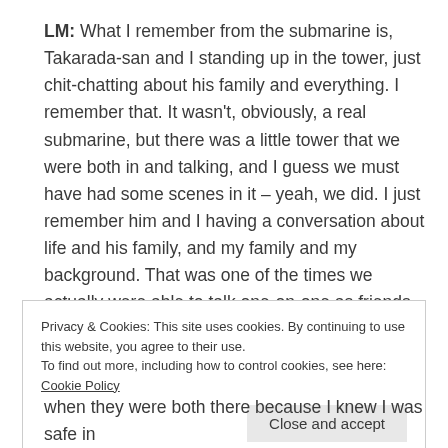LM: What I remember from the submarine is, Takarada-san and I standing up in the tower, just chit-chatting about his family and everything. I remember that. It wasn't, obviously, a real submarine, but there was a little tower that we were both in and talking, and I guess we must have had some scenes in it – yeah, we did. I just remember him and I having a conversation about life and his family, and my family and my background. That was one of the times we actually were able to talk one-on-one as friends.
Privacy & Cookies: This site uses cookies. By continuing to use this website, you agree to their use. To find out more, including how to control cookies, see here: Cookie Policy
Close and accept
when they were both there because I knew I was safe in